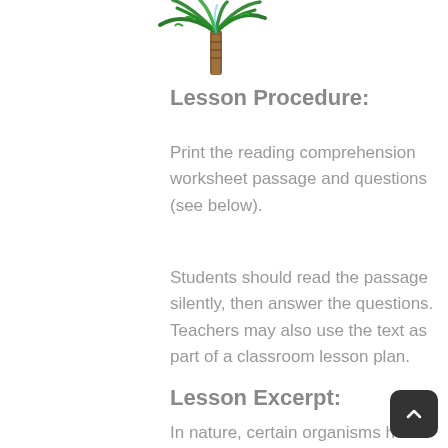[Figure (illustration): Tropical palm tree illustration with green leaves and brown trunk]
Lesson Procedure:
Print the reading comprehension worksheet passage and questions (see below).
Students should read the passage silently, then answer the questions. Teachers may also use the text as part of a classroom lesson plan.
Lesson Excerpt:
In nature, certain organisms have